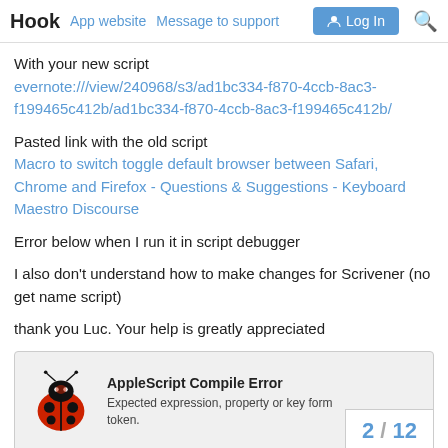Hook  App website  Message to support  Log In
With your new script evernote:///view/240968/s3/ad1bc334-f870-4ccb-8ac3-f199465c412b/ad1bc334-f870-4ccb-8ac3-f199465c412b/
Pasted link with the old script Macro to switch toggle default browser between Safari, Chrome and Firefox - Questions & Suggestions - Keyboard Maestro Discourse
Error below when I run it in script debugger
I also don't understand how to make changes for Scrivener (no get name script)
thank you Luc. Your help is greatly appreciated
[Figure (screenshot): AppleScript Compile Error dialog showing 'Expected expression, property or key form token.' with a ladybug icon, and pagination showing 2 / 12]